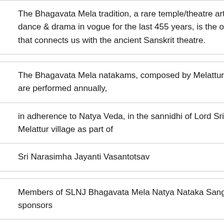The Bhagavata Mela tradition, a rare temple/theatre art in a dance & drama in vogue for the last 455 years, is the only s that connects us with the ancient Sanskrit theatre.
The Bhagavata Mela natakams, composed by Melattur Ver are performed annually,
in adherence to Natya Veda, in the sannidhi of Lord Sri Van Melattur village as part of
Sri Narasimha Jayanti Vasantotsav
Members of SLNJ Bhagavata Mela Natya Nataka Sangam, sponsors